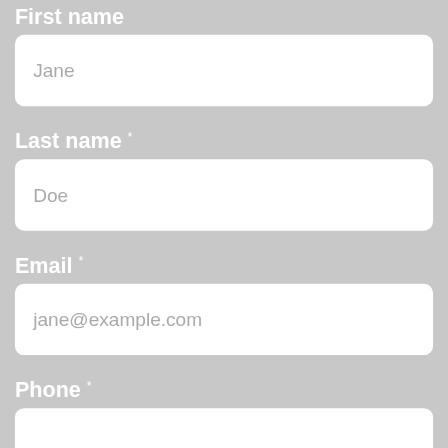First name
Jane
Last name *
Doe
Email *
jane@example.com
Phone *